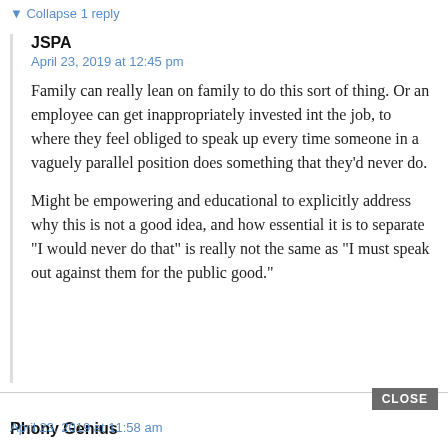Collapse 1 reply
JSPA
April 23, 2019 at 12:45 pm
Family can really lean on family to do this sort of thing. Or an employee can get inappropriately invested int the job, to where they feel obliged to speak up every time someone in a vaguely parallel position does something that they’d never do.
Might be empowering and educational to explicitly address why this is not a good idea, and how essential it is to separate “I would never do that” is really not the same as “I must speak out against them for the public good.”
CLOSE
Phony Genius
April 23, 2019 at 11:58 am